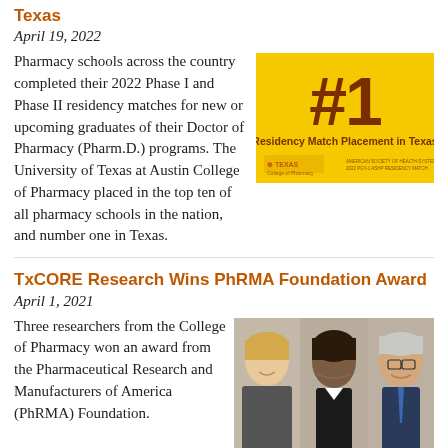Texas
April 19, 2022
Pharmacy schools across the country completed their 2022 Phase I and Phase II residency matches for new or upcoming graduates of their Doctor of Pharmacy (Pharm.D.) programs. The University of Texas at Austin College of Pharmacy placed in the top ten of all pharmacy schools in the nation, and number one in Texas.
[Figure (infographic): #1 Residency Match Placement in Texas badge with UT Texas logo and American Society of Health-System Pharmacists branding, yellow background with burnt orange text]
TxCORE Research Wins PhRMA Foundation Award
April 1, 2021
Three researchers from the College of Pharmacy won an award from the Pharmaceutical Research and Manufacturers of America (PhRMA) Foundation.
[Figure (photo): Photo of three researchers: a blonde woman, a Black woman, and a man with glasses wearing a blue tie, posed together]